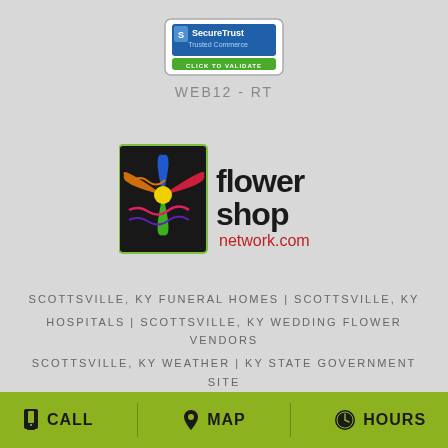[Figure (logo): SecureTrust Trusted Commerce CLICK TO VALIDATE badge]
WEB12 - RT
[Figure (logo): Flower Shop Network.com logo with colorful flower graphic]
SCOTTSVILLE, KY FUNERAL HOMES | SCOTTSVILLE, KY HOSPITALS | SCOTTSVILLE, KY WEDDING FLOWER VENDORS SCOTTSVILLE, KY WEATHER | KY STATE GOVERNMENT SITE PRIVACY POLICY | TERMS OF PURCHASE
CALL  MAP  HOURS